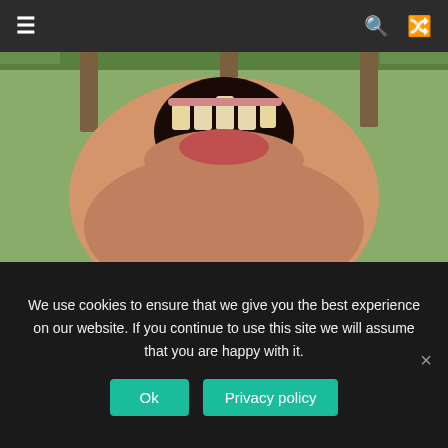≡  🔍  🔀
[Figure (photo): Close-up photo of a person tilting their head back with mouth wide open, shot from below against an outdoor background with trees.]
Health
6 benefits of eating raw eggs and who shouldn't eat them
🗓  💬 0 Comments  🏷 benefits of raw eggs
Eggs are commonly boiled or fried in our daily meals, but eating them raw without boiling or frying has been
We use cookies to ensure that we give you the best experience on our website. If you continue to use this site we will assume that you are happy with it.
Ok  Privacy policy